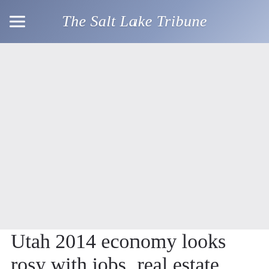The Salt Lake Tribune
[Figure (other): Advertisement or placeholder image area with light gray background]
Utah 2014 economy looks rosy with jobs, real estate growth